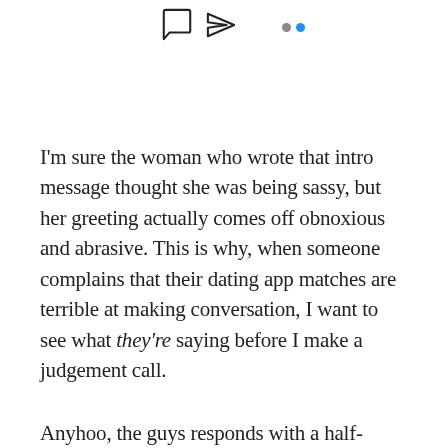[Figure (illustration): Social media post icons: speech bubble icon, send/paper-plane icon, and two dots (one gray, one blue) representing a menu or options indicator.]
I'm sure the woman who wrote that intro message thought she was being sassy, but her greeting actually comes off obnoxious and abrasive. This is why, when someone complains that their dating app matches are terrible at making conversation, I want to see what they're saying before I make a judgement call.
Anyhoo, the guys responds with a half-hearted, "Hey." The fact he couldn't be bothered to write more than four or five words in his bio should have been a tip-off this guy